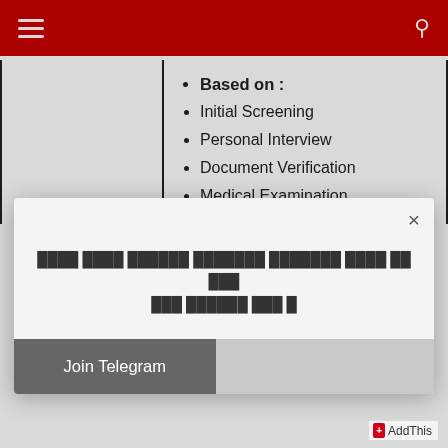Navigation header with hamburger menu and search icon
|  | Selection Process |
| --- | --- |
|  | Based on :
• Initial Screening
• Personal Interview
• Document Verification
• Medical Examination |
Hindi text (modal): यहाँ सभी सरकारी नौकरियों अपडेट पाने के लिए यहाँ क्लिक करें |
Join Telegram